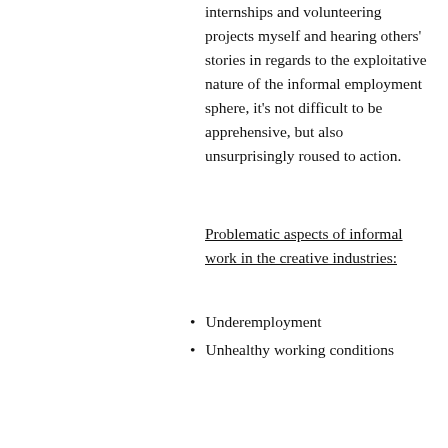internships and volunteering projects myself and hearing others' stories in regards to the exploitative nature of the informal employment sphere, it's not difficult to be apprehensive, but also unsurprisingly roused to action.
Problematic aspects of informal work in the creative industries:
Underemployment
Unhealthy working conditions